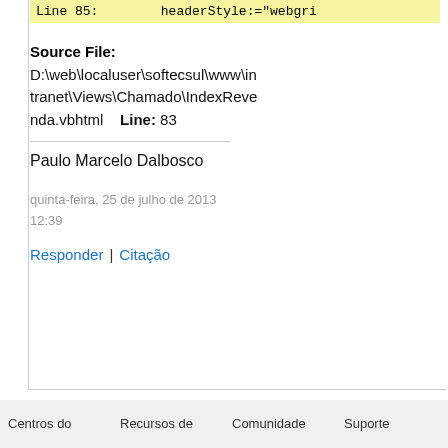Line 85:        headerStyle:="webgri
Source File: D:\web\localuser\softecsul\www\intranet\Views\Chamado\IndexRevenda.vbhtml    Line: 83
Paulo Marcelo Dalbosco
quinta-feira, 25 de julho de 2013 12:39
Responder | Citação
Centros do   Recursos de   Comunidade   Suporte